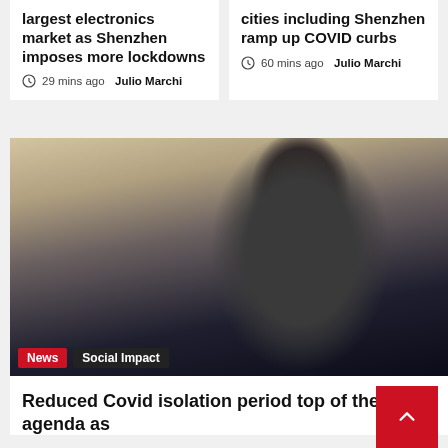largest electronics market as Shenzhen imposes more lockdowns
29 mins ago  Julio Marchi
cities including Shenzhen ramp up COVID curbs
60 mins ago  Julio Marchi
[Figure (photo): Two men at a press conference, one wearing a white face mask and green tie, the other in dark suit with glasses speaking and pointing]
News  Social Impact
Reduced Covid isolation period top of the agenda as